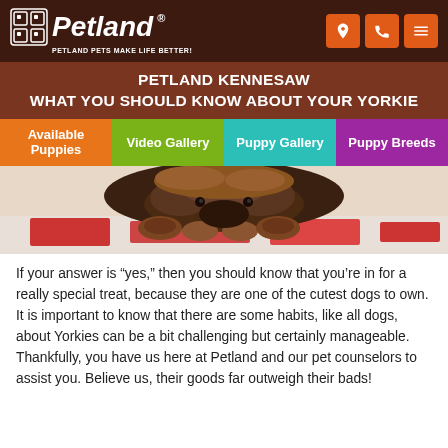Petland — PETLAND PETS MAKE LIFE BETTER!
PETLAND KENNESAW
WHAT YOU SHOULD KNOW ABOUT YOUR YORKIE
[Figure (screenshot): Navigation bar with four colored tabs: Available Puppies (orange), Video Gallery (green), Puppy Gallery (teal), Puppy Breeds (purple)]
[Figure (photo): Close-up photo of a Yorkie dog lying on a red and white striped surface, showing mainly face and paws from a low angle]
If your answer is “yes,” then you should know that you’re in for a really special treat, because they are one of the cutest dogs to own. It is important to know that there are some habits, like all dogs, about Yorkies can be a bit challenging but certainly manageable. Thankfully, you have us here at Petland and our pet counselors to assist you. Believe us, their goods far outweigh their bads!